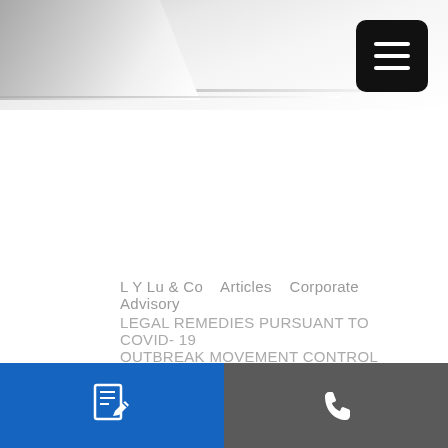[Figure (illustration): Law firm website header banner with decorative diagonal paper/hand background graphic and black hamburger menu button in top-right corner]
L Y Lu & Co   Articles   Corporate Advisory
LEGAL REMEDIES PURSUANT TO COVID- 19 OUTBREAK MOVEMENT CONTROL ORDER
LEGAL REMEDIES PURSUANT TO COVID-19
[Figure (illustration): Bottom navigation bar split into two halves: left blue with document/edit icon, right dark grey with phone icon]